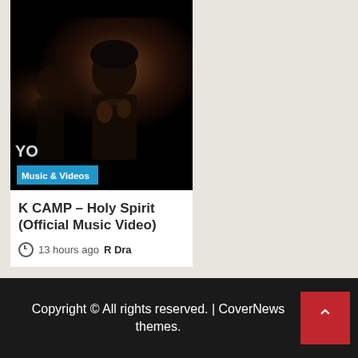[Figure (photo): Dark moody music video thumbnail showing a person in dim lighting with a 'Music & Videos' badge and YO logo overlay at bottom-left]
K CAMP – Holy Spirit (Official Music Video)
13 hours ago  R Dra
Copyright © All rights reserved. | CoverNews themes.